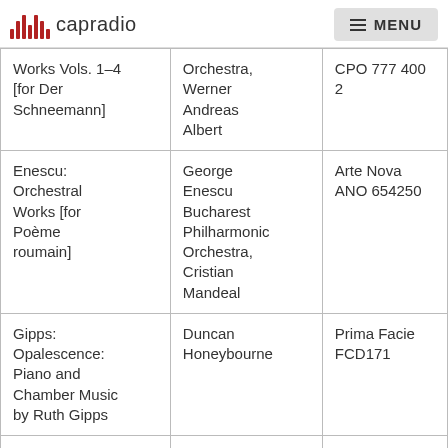capradio  MENU
| Works Vols. 1-4 [for Der Schneemann] | Orchestra, Werner Andreas Albert | CPO 777 400 2 |
| Enescu: Orchestral Works [for Poème roumain] | George Enescu Bucharest Philharmonic Orchestra, Cristian Mandeal | Arte Nova ANO 654250 |
| Gipps: Opalescence: Piano and Chamber Music by Ruth Gipps | Duncan Honeybourne | Prima Facie FCD171 |
| Gipps: Symphonies Nos. 2 & 4 | BBC National Orchestra of Wales, Rumon Gamba | Chandos CHAN 20078 |